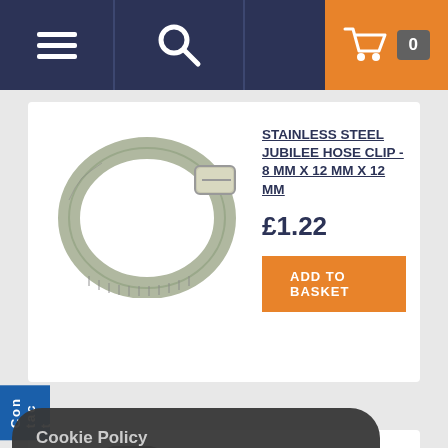[Figure (screenshot): Website navigation bar with hamburger menu icon, search icon, and shopping cart with 0 items]
[Figure (photo): Stainless steel jubilee hose clip product image]
STAINLESS STEEL JUBILEE HOSE CLIP - 8 MM X 12 MM X 12 MM
£1.22
ADD TO BASKET
[Figure (photo): Stainless steel jubilee hose clip - larger size, partially obscured by cookie overlay]
STAINLESS STEEL JUBILEE HOSE CLIP - 80 MM X 12 MM
£2.34
ADD TO BASKET
Cookie Policy

This site uses cookies to store information on your computer.

Happy to accept?